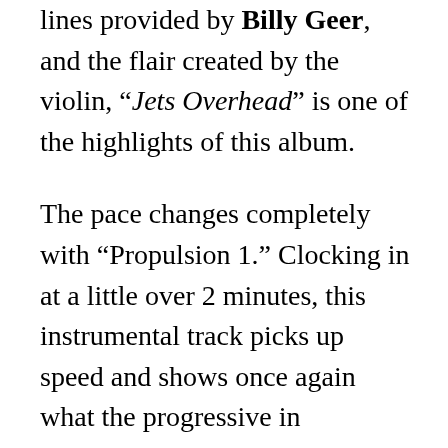lines provided by Billy Geer, and the flair created by the violin, “Jets Overhead” is one of the highlights of this album.
The pace changes completely with “Propulsion 1.” Clocking in at a little over 2 minutes, this instrumental track picks up speed and shows once again what the progressive in progressive rock means. The song has phenomenal power and incredible drum rhythms provided by Phil Ehart, who really delivered a top-notch performance on this track. The rest of the instruments blend in together beautifully and create a harmonious piece of music that serves as the perfect break